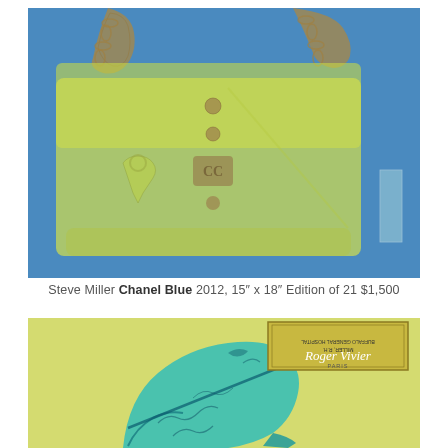[Figure (photo): X-ray photograph of a Chanel handbag against a blue background. The bag appears translucent yellow-green with gold chain straps and internal hardware visible. A Chanel label is visible on the right side.]
Steve Miller Chanel Blue 2012, 15" x 18" Edition of 21 $1,500
[Figure (photo): X-ray photograph of a high-heeled shoe (Roger Vivier) against a yellow-green background. The shoe appears translucent cyan/turquoise with internal structure visible. A Roger Vivier label is visible in the upper right corner.]